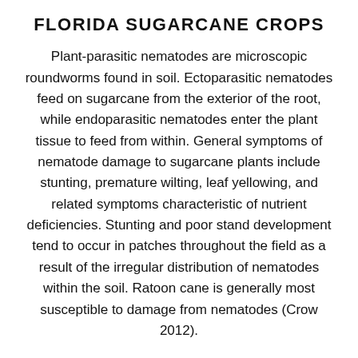FLORIDA SUGARCANE CROPS
Plant-parasitic nematodes are microscopic roundworms found in soil. Ectoparasitic nematodes feed on sugarcane from the exterior of the root, while endoparasitic nematodes enter the plant tissue to feed from within. General symptoms of nematode damage to sugarcane plants include stunting, premature wilting, leaf yellowing, and related symptoms characteristic of nutrient deficiencies. Stunting and poor stand development tend to occur in patches throughout the field as a result of the irregular distribution of nematodes within the soil. Ratoon cane is generally most susceptible to damage from nematodes (Crow 2012).
Most species of plant-parasitic nematodes favor mineral-soil conditions and are rarely a problem